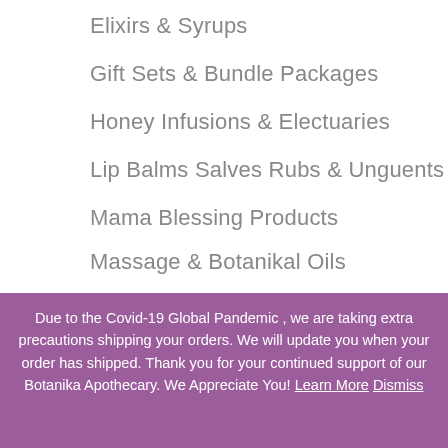Elixirs & Syrups
Gift Sets & Bundle Packages
Honey Infusions & Electuaries
Lip Balms Salves Rubs & Unguents
Mama Blessing Products
Massage & Botanikal Oils
Mists & Sprays
Due to the Covid-19 Global Pandemic , we are taking extra precautions shipping your orders. We will update you when your order has shipped. Thank you for your continued support of our Botanika Apothecary. We Appreciate You! Learn More Dismiss